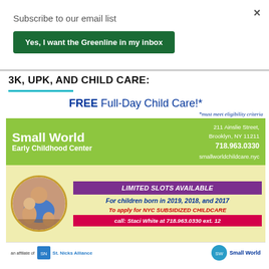×
Subscribe to our email list
Yes, I want the Greenline in my inbox
3K, UPK, AND CHILD CARE:
[Figure (infographic): Advertisement for Small World Early Childhood Center offering FREE Full-Day Child Care. Green banner with organization name and address (211 Ainslie Street, Brooklyn, NY 11211, 718.963.0330, smallworldchildcare.nyc). Yellow section with circular photo of adult and child, purple LIMITED SLOTS AVAILABLE box, text about children born in 2019, 2018, and 2017, and NYC subsidized childcare contact info.]
an affiliate of St. Nicks Alliance | Small World